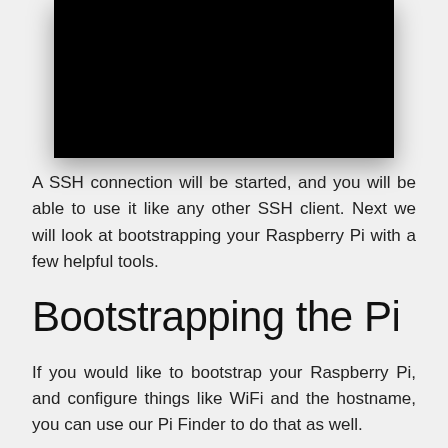[Figure (screenshot): Black screenshot area at the top of the page showing a terminal or application window]
A SSH connection will be started, and you will be able to use it like any other SSH client. Next we will look at bootstrapping your Raspberry Pi with a few helpful tools.
Bootstrapping the Pi
If you would like to bootstrap your Raspberry Pi, and configure things like WiFi and the hostname, you can use our Pi Finder to do that as well.